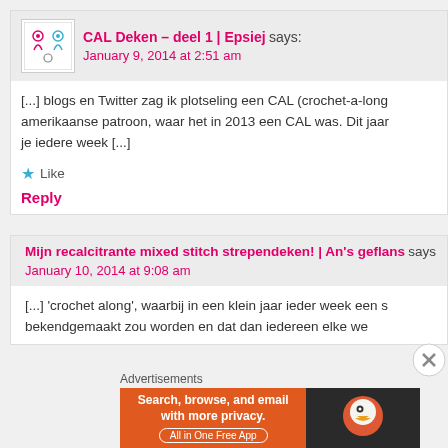CAL Deken – deel 1 | Epsiej says:
January 9, 2014 at 2:51 am
[...] blogs en Twitter zag ik plotseling een CAL (crochet-a-long) amerikaanse patroon, waar het in 2013 een CAL was. Dit jaar je iedere week [...]
★ Like
Reply
Mijn recalcitrante mixed stitch strependeken! | An's geflans says
January 10, 2014 at 9:08 am
[...] 'crochet along', waarbij in een klein jaar ieder week een s bekendgemaakt zou worden en dat dan iedereen elke we
Advertisements
[Figure (other): DuckDuckGo advertisement banner: 'Search, browse, and email with more privacy. All in One Free App' with DuckDuckGo logo]